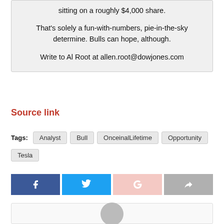sitting on a roughly $4,000 share.

That's solely a fun-with-numbers, pie-in-the-sky determine. Bulls can hope, although.

Write to Al Root at allen.root@dowjones.com
Source link
Tags: Analyst  Bull  OnceinalLifetime  Opportunity  Tesla